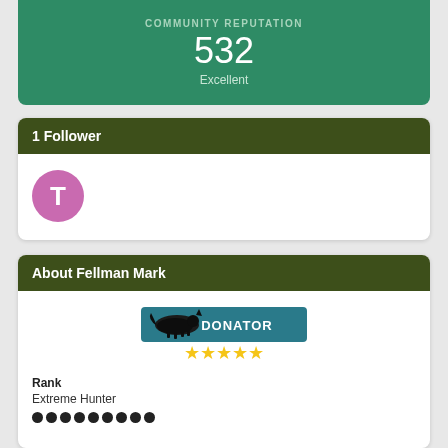COMMUNITY REPUTATION
532
Excellent
1 Follower
[Figure (illustration): Pink circle avatar with white letter T]
About Fellman Mark
[Figure (illustration): Donator badge with running fox silhouette, teal background, text DONATOR, and 5 gold stars below]
Rank
Extreme Hunter
[Figure (illustration): Row of 9 filled black circles representing rank dots]